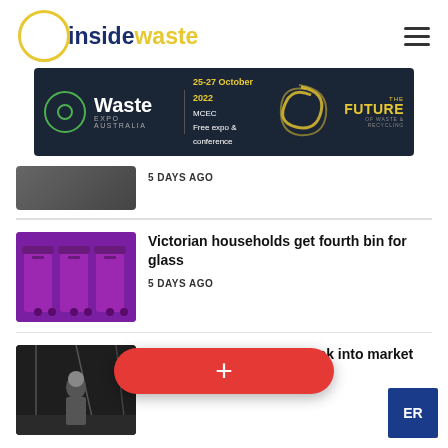insidewaste
[Figure (infographic): Waste Expo Australia banner ad: 25-27 October 2022, MCEC, Free expo & conference, The Future of Waste & Recycling]
5 DAYS AGO
[Figure (photo): Purple recycling wheelie bins]
Victorian households get fourth bin for glass
5 DAYS AGO
[Figure (photo): Man in suit standing in industrial warehouse]
Regulation confidence back into market
24 HOURS AGO